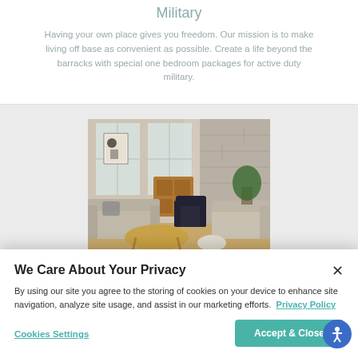Military
Having your own place gives you freedom. Our mission is to make living off base as convenient as possible. Create a life beyond the barracks with special one bedroom packages for active duty military.
[Figure (photo): Interior photo of a modern living room with a sofa, armchair, coffee table, dresser, and wall art]
We Care About Your Privacy
By using our site you agree to the storing of cookies on your device to enhance site navigation, analyze site usage, and assist in our marketing efforts.  Privacy Policy
Cookies Settings
Accept & Close